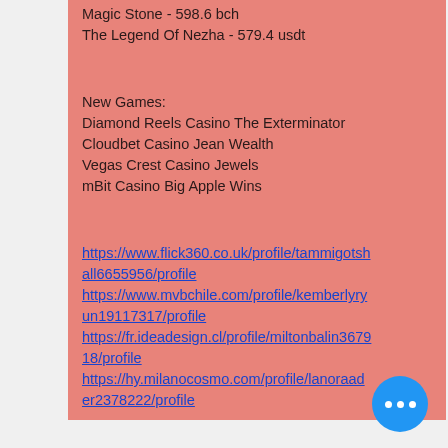Magic Stone - 598.6 bch
The Legend Of Nezha - 579.4 usdt
New Games:
Diamond Reels Casino The Exterminator
Cloudbet Casino Jean Wealth
Vegas Crest Casino Jewels
mBit Casino Big Apple Wins
https://www.flick360.co.uk/profile/tammigotshall6655956/profile
https://www.mvbchile.com/profile/kemberlyryun19117317/profile
https://fr.ideadesign.cl/profile/miltonbalin367918/profile
https://hy.milanocosmo.com/profile/lanoraader2378222/profile